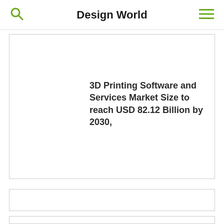Design World
3D Printing Software and Services Market Size to reach USD 82.12 Billion by 2030,
[Figure (other): Empty card placeholder 2]
[Figure (other): Empty card placeholder 3]